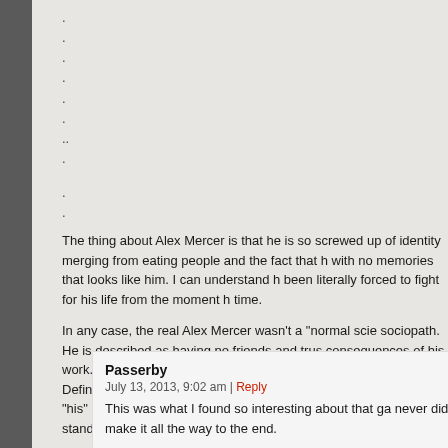.
.
.
.
.
.
..
.
.
.
The thing about Alex Mercer is that he is so screwed up of identity merging from eating people and the fact that h with no memories that looks like him. I can understand h been literally forced to fight for his life from the moment h time.
In any case, the real Alex Mercer wasn't a "normal scie sociopath. He is described as having no friends and trus consequences of his work. When he learned that he was zombie plague out of spite. Definitely not a normal perso Alex actually expresses disgust at "his" prior actions, if I when a zombie virus given human form can't stand you
Passerby
July 13, 2013, 9:02 am | Reply
This was what I found so interesting about that ga never did make it all the way to the end.